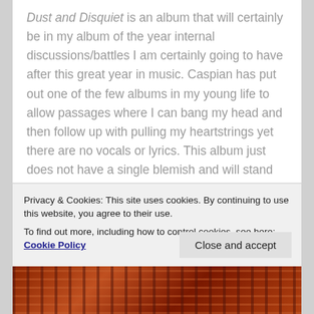Dust and Disquiet is an album that will certainly be in my album of the year internal discussions/battles I am certainly going to have after this great year in music. Caspian has put out one of the few albums in my young life to allow passages where I can bang my head and then follow up with pulling my heartstrings yet there are no vocals or lyrics. This album just does not have a single blemish and will stand up in its genre for years to come. Moving forward, when I mention bands from MA I enjoy...
Privacy & Cookies: This site uses cookies. By continuing to use this website, you agree to their use.
To find out more, including how to control cookies, see here: Cookie Policy
[Figure (photo): Decorative image at the bottom of the page showing a reddish-brown patterned texture]